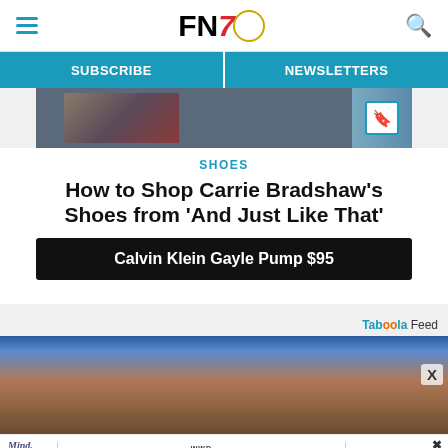FN7 - Footwear News header with hamburger menu and search icon
SUBSCRIBE | NEWSLETTERS
[Figure (photo): Partial article image showing shoes/clothing with a bookmark icon on right]
SHOES
How to Shop Carrie Bradshaw’s Shoes from ‘And Just Like That’
Calvin Klein Gayle Pump $95
Taboola Feed
[Figure (photo): Lower body shot of a person wearing blue shorts, cropped image]
Mind. Body. Business. | WWD WELLNESS FORUM | BUY TICKETS